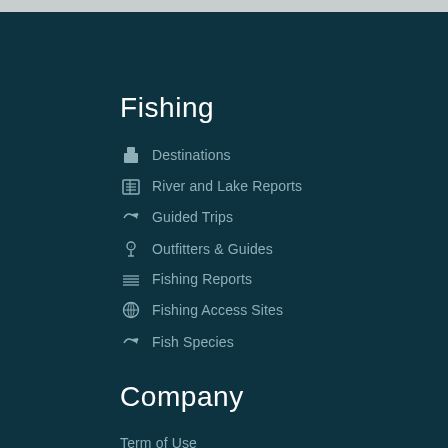Fishing
Destinations
River and Lake Reports
Guided Trips
Outfitters & Guides
Fishing Reports
Fishing Access Sites
Fish Species
Company
Term of Use